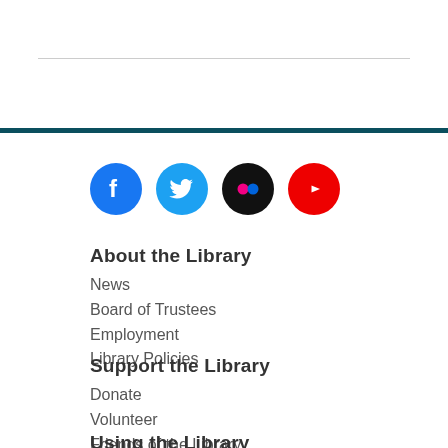[Figure (illustration): Social media icons: Facebook (blue circle), Twitter (light blue circle), Flickr (black circle with pink/red dots), YouTube (red circle with play button)]
About the Library
News
Board of Trustees
Employment
Library Policies
Support the Library
Donate
Volunteer
Friends of the Library
Library Foundation
Using the Library